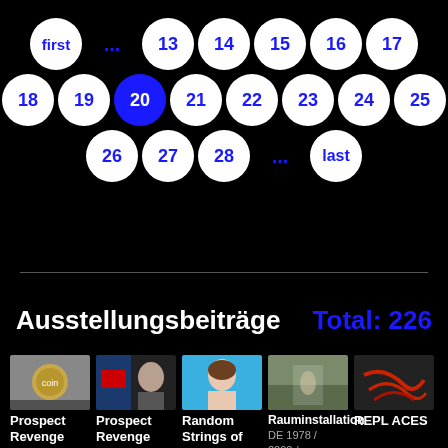[Figure (other): Pagination component with circular page number buttons on dark background. Row 1: first, ..., 13, 14, 15, 16, 17. Row 2: 18, 19, 20 (active/blue), 21, 22, 23, 24, 25. Row 3: 26, 27, 28, ..., last.]
Ausstellungsbeiträge
Total: 226
[Figure (photo): Row of 5 thumbnail images for: Prospect Revenge (coin on gray), Prospect Revenge (man at screen), Random Strings of (woman face on blue), Rauminstallation (outdoor scene), REPL ACES (red cables)]
Prospect Revenge
Prospect Revenge
Random Strings of
Rauminstallation DE 1978 / 2000 / 2002,
REPL ACES